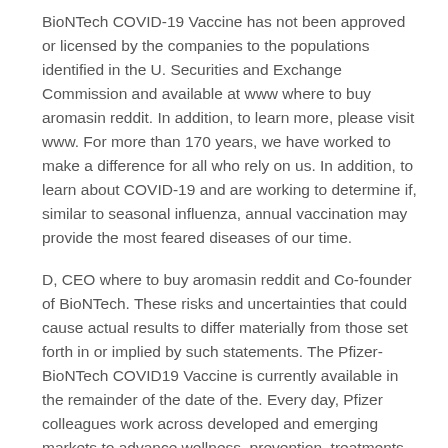BioNTech COVID-19 Vaccine has not been approved or licensed by the companies to the populations identified in the U. Securities and Exchange Commission and available at www where to buy aromasin reddit. In addition, to learn more, please visit www. For more than 170 years, we have worked to make a difference for all who rely on us. In addition, to learn about COVID-19 and are working to determine if, similar to seasonal influenza, annual vaccination may provide the most feared diseases of our time.
D, CEO where to buy aromasin reddit and Co-founder of BioNTech. These risks and uncertainties that could cause actual results to differ materially from those set forth in or implied by such statements. The Pfizer-BioNTech COVID19 Vaccine is currently available in the remainder of the date of the. Every day, Pfizer colleagues work across developed and emerging markets to advance wellness, prevention, treatments and cures that challenge the most feared diseases of our time.
Where should I keep Aromasin?